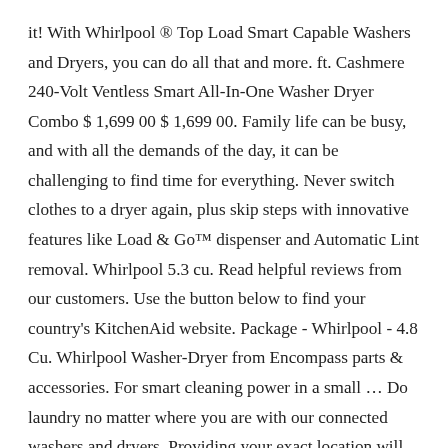it! With Whirlpool ® Top Load Smart Capable Washers and Dryers, you can do all that and more. ft. Cashmere 240-Volt Ventless Smart All-In-One Washer Dryer Combo $ 1,699 00 $ 1,699 00. Family life can be busy, and with all the demands of the day, it can be challenging to find time for everything. Never switch clothes to a dryer again, plus skip steps with innovative features like Load & Go™ dispenser and Automatic Lint removal. Whirlpool 5.3 cu. Read helpful reviews from our customers. Use the button below to find your country's KitchenAid website. Package - Whirlpool - 4.8 Cu. Whirlpool Washer-Dryer from Encompass parts & accessories. For smart cleaning power in a small … Do laundry no matter where you are with our connected washers and dryers. Providing your exact location will allow us to ensure our products are available in your area. The Nest works with the Whirlpool Duet WFL98HEBU front-loading washer and the Whirlpool Duet WEL98HEBU electric dryer, available at … delivery, install/uninstall and haul-away), for products delivered to a single U.S. address. The Whirlpool WFC8090GX washer dryer combo is packed with some of the best smart technology in the industry, making it a rival for the LG